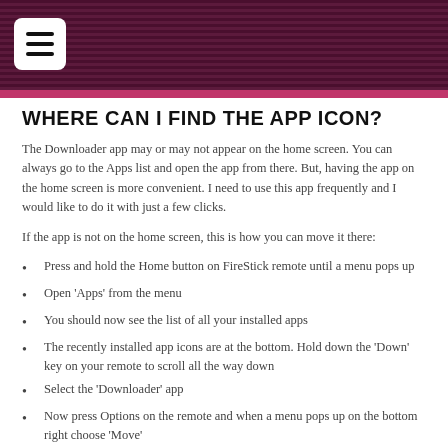WHERE CAN I FIND THE APP ICON?
The Downloader app may or may not appear on the home screen. You can always go to the Apps list and open the app from there. But, having the app on the home screen is more convenient. I need to use this app frequently and I would like to do it with just a few clicks.
If the app is not on the home screen, this is how you can move it there:
Press and hold the Home button on FireStick remote until a menu pops up
Open ‘Apps’ from the menu
You should now see the list of all your installed apps
The recently installed app icons are at the bottom. Hold down the ‘Down’ key on your remote to scroll all the way down
Select the ‘Downloader’ app
Now press Options on the remote and when a menu pops up on the bottom right choose ‘Move’
Press the ‘Up’ key on the remote and drag the Downloader icon all the way to the top row
Press ‘Select’ on your remote to release the icon once you have chosen the